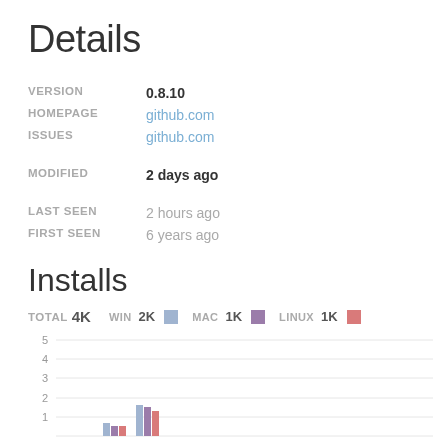Details
| VERSION | 0.8.10 |
| HOMEPAGE | github.com |
| ISSUES | github.com |
| MODIFIED | 2 days ago |
| LAST SEEN | 2 hours ago |
| FIRST SEEN | 6 years ago |
Installs
TOTAL 4K   WIN 2K   MAC 1K   LINUX 1K
[Figure (grouped-bar-chart): Installs over time]